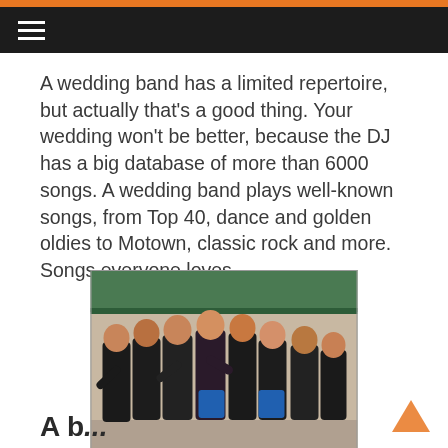≡
A wedding band has a limited repertoire, but actually that's a good thing. Your wedding won't be better, because the DJ has a big database of more than 6000 songs. A wedding band plays well-known songs, from Top 40, dance and golden oldies to Motown, classic rock and more. Songs everyone loves.
[Figure (photo): Group photo of approximately 7-8 women dressed in black outfits posing together in what appears to be a backstage or venue area with a green ceiling/awning visible in the background.]
A b...